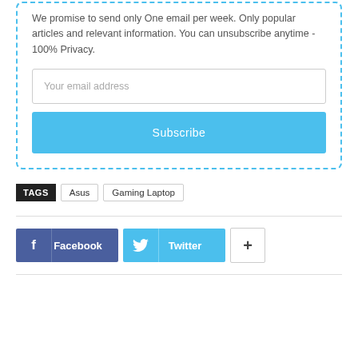We promise to send only One email per week. Only popular articles and relevant information. You can unsubscribe anytime - 100% Privacy.
Your email address
Subscribe
TAGS  Asus  Gaming Laptop
[Figure (infographic): Social share buttons: Facebook, Twitter, and a plus button]
Facebook  Twitter  +